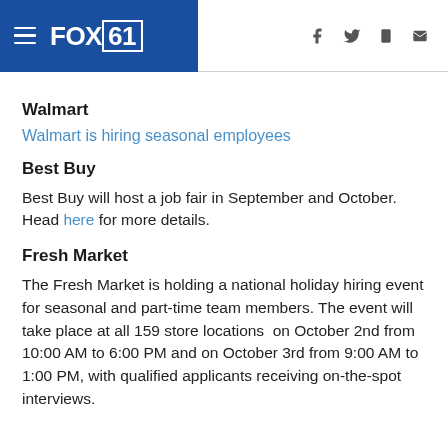FOX61
Walmart
Walmart is hiring seasonal employees
Best Buy
Best Buy will host a job fair in September and October. Head here for more details.
Fresh Market
The Fresh Market is holding a national holiday hiring event for seasonal and part-time team members. The event will take place at all 159 store locations  on October 2nd from 10:00 AM to 6:00 PM and on October 3rd from 9:00 AM to 1:00 PM, with qualified applicants receiving on-the-spot interviews.